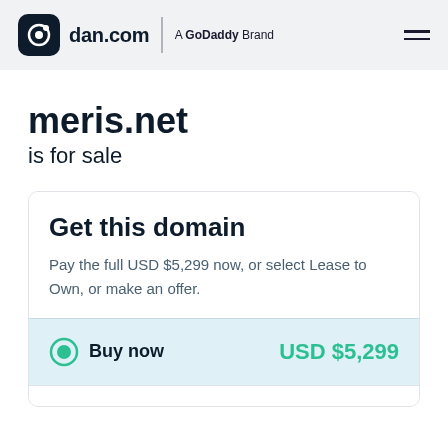dan.com | A GoDaddy Brand
meris.net
is for sale
Get this domain
Pay the full USD $5,299 now, or select Lease to Own, or make an offer.
Buy now  USD $5,299